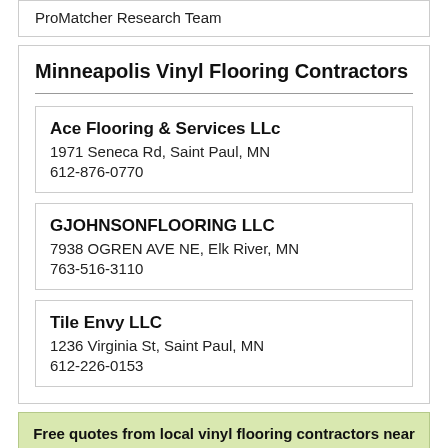ProMatcher Research Team
Minneapolis Vinyl Flooring Contractors
Ace Flooring & Services LLc
1971 Seneca Rd, Saint Paul, MN
612-876-0770
GJOHNSONFLOORING LLC
7938 OGREN AVE NE, Elk River, MN
763-516-3110
Tile Envy LLC
1236 Virginia St, Saint Paul, MN
612-226-0153
Free quotes from local vinyl flooring contractors near you.
Click to Get Quotes